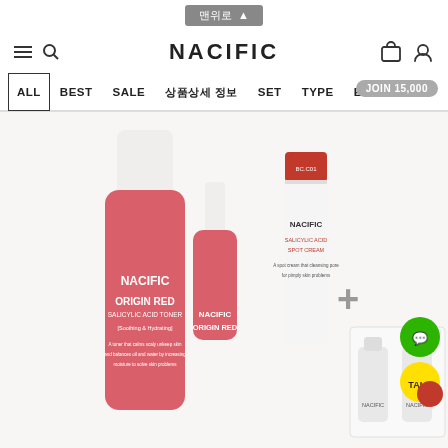맨위로 ↑
NACIFIC
ALL  BEST  SALE  SET  TYPE  EVENT  상품상세 정보
[Figure (photo): Nacific Origin Red Salicylic Acid Toner and spot cream product set photo with bonus mini products shown on white background]